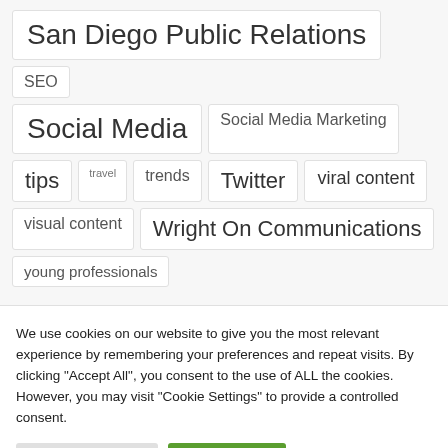San Diego Public Relations
SEO
Social Media
Social Media Marketing
tips
travel
trends
Twitter
viral content
visual content
Wright On Communications
young professionals
We use cookies on our website to give you the most relevant experience by remembering your preferences and repeat visits. By clicking “Accept All”, you consent to the use of ALL the cookies. However, you may visit "Cookie Settings" to provide a controlled consent.
Cookie Settings | Accept All